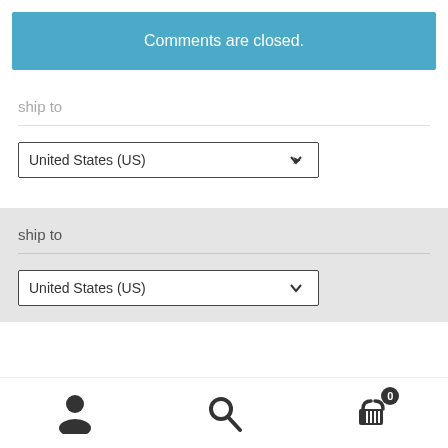Comments are closed.
ship to
[Figure (screenshot): Dropdown select box showing 'United States (US)']
ship to
[Figure (screenshot): Dropdown select box showing 'United States (US)' on grey background]
User icon, Search icon, Cart icon with badge 0